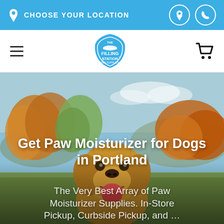CHOOSE YOUR LOCATION
[Figure (logo): The Filling Station Pet Supplies logo — blue shield/badge shape with text]
[Figure (photo): Golden retriever dog outdoors in autumn setting with colorful foliage background]
Get Paw Moisturizer for Dogs in Portland
The Very Best Array of Paw Moisturizer Supplies. In-Store Pickup, Curbside Pickup, and ...